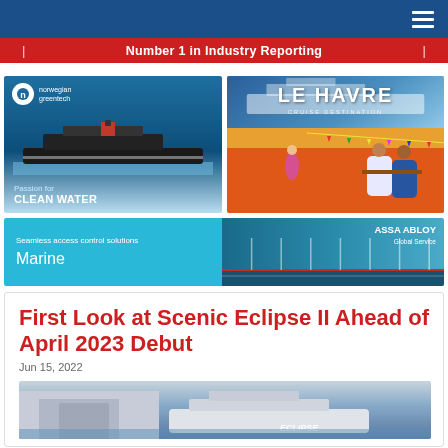Number 1 in Industry Reporting
[Figure (photo): Norwegian Greentech advertisement featuring a cruise ship at sea with text 'Passion for CLEAN WATER']
[Figure (illustration): Le Havre cruise destination advertisement with illustrated scene of people at outdoor cafe with cruise ship in background]
[Figure (photo): ASSA ABLOY marine access control solutions advertisement with text 'Seamless access control solutions' and 'Marine']
First Look at Scenic Eclipse II Ahead of April 2023 Debut
Jun 15, 2022
[Figure (photo): Aerial photograph of Scenic Eclipse II ship in port]